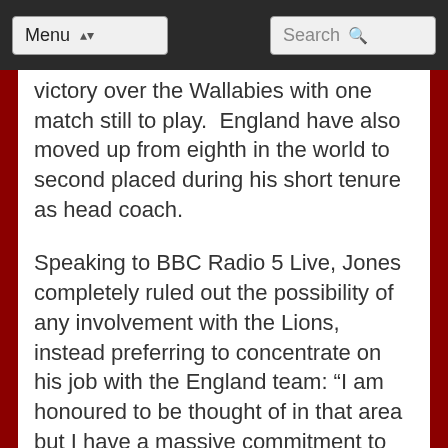Menu | Search
victory over the Wallabies with one match still to play.  England have also moved up from eighth in the world to second placed during his short tenure as head coach.
Speaking to BBC Radio 5 Live, Jones completely ruled out the possibility of any involvement with the Lions, instead preferring to concentrate on his job with the England team: “I am honoured to be thought of in that area but I have a massive commitment to England and the RFU and I can't afford to spend any time away from the team.”
“While it might be nice to do it professionally, my job is to make England the best in the world and I am going to do that 100 per cent. So unfortunately, I am unavailable for the Lions. Absolutely no.”